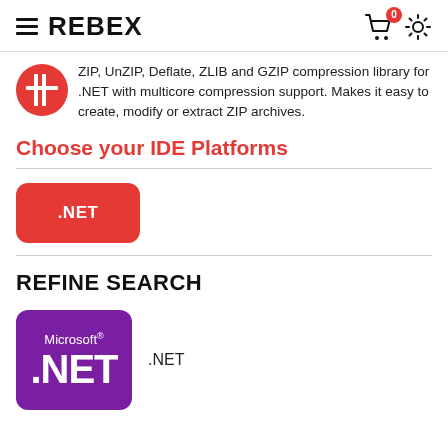REBEX
ZIP, UnZIP, Deflate, ZLIB and GZIP compression library for .NET with multicore compression support. Makes it easy to create, modify or extract ZIP archives.
Choose your IDE Platforms
[Figure (other): .NET platform button (red rounded rectangle with .NET text)]
REFINE SEARCH
[Figure (logo): Microsoft .NET logo badge on purple background]
.NET